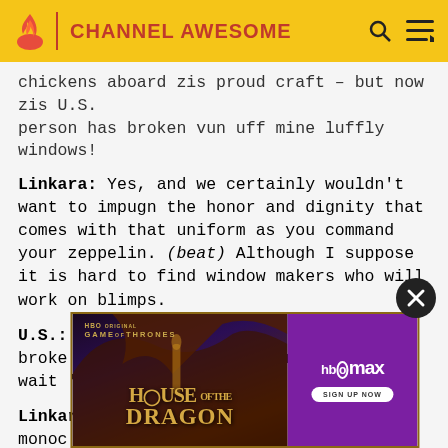CHANNEL AWESOME
chickens aboard zis proud craft – but now zis U.S. person has broken vun uff mine luffly windows!
Linkara: Yes, and we certainly wouldn't want to impugn the honor and dignity that comes with that uniform as you command your zeppelin. (beat) Although I suppose it is hard to find window makers who will work on blimps.
U.S.: If you think you felt bad when I broke one of your crummy windows, tubby, wait 'til I get my hands on you!
Linkara: monoc
[Figure (advertisement): HBO Max House of the Dragon advertisement banner with close button]